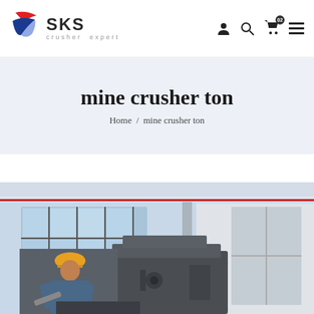SKS crusher expert
mine crusher ton
Home / mine crusher ton
[Figure (photo): Industrial factory floor showing a worker in a hard hat working on heavy mining crusher machinery, with large windows and steel structure visible in the background.]